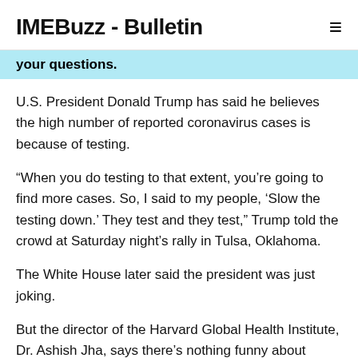IMEBuzz - Bulletin
your questions.
U.S. President Donald Trump has said he believes the high number of reported coronavirus cases is because of testing.
“When you do testing to that extent, you’re going to find more cases. So, I said to my people, ‘Slow the testing down.’ They test and they test,” Trump told the crowd at Saturday night’s rally in Tulsa, Oklahoma.
The White House later said the president was just joking.
But the director of the Harvard Global Health Institute, Dr. Ashish Jha, says there’s nothing funny about COVID-19